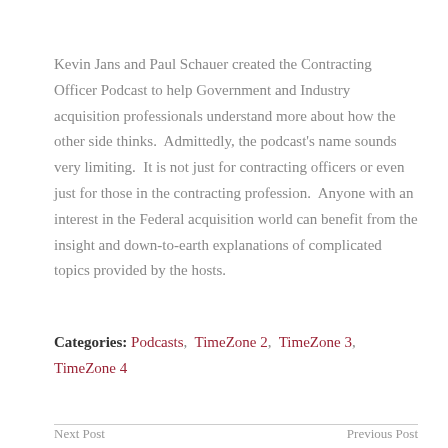Kevin Jans and Paul Schauer created the Contracting Officer Podcast to help Government and Industry acquisition professionals understand more about how the other side thinks.  Admittedly, the podcast's name sounds very limiting.  It is not just for contracting officers or even just for those in the contracting profession.  Anyone with an interest in the Federal acquisition world can benefit from the insight and down-to-earth explanations of complicated topics provided by the hosts.
Categories: Podcasts, TimeZone 2, TimeZone 3, TimeZone 4
Next Post    Previous Post